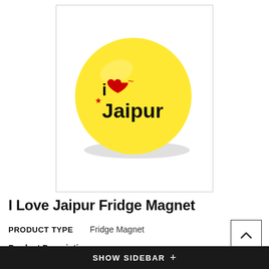[Figure (photo): Yellow circular fridge magnet with 'i Love Jaipur' text and red heart design]
I Love Jaipur Fridge Magnet
PRODUCT TYPE    Fridge Magnet
Product Description:
Circular Fridge Magnet• Diameter: 75mm
SHOW SIDEBAR +